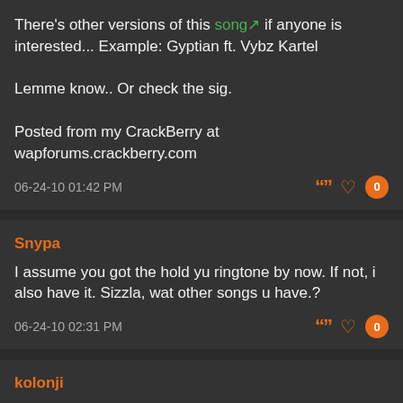There's other versions of this song if anyone is interested... Example: Gyptian ft. Vybz Kartel

Lemme know.. Or check the sig.

Posted from my CrackBerry at wapforums.crackberry.com
06-24-10 01:42 PM
Snypa
I assume you got the hold yu ringtone by now. If not, i also have it. Sizzla, wat other songs u have.?
06-24-10 02:31 PM
kolonji
Not to many i dont have boss .. as you may know that Gyptian always contain like i said...